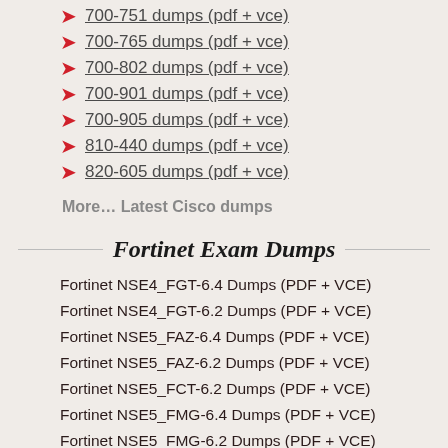700-751 dumps (pdf + vce)
700-765 dumps (pdf + vce)
700-802 dumps (pdf + vce)
700-901 dumps (pdf + vce)
700-905 dumps (pdf + vce)
810-440 dumps (pdf + vce)
820-605 dumps (pdf + vce)
More... Latest Cisco dumps
Fortinet Exam Dumps
Fortinet NSE4_FGT-6.4 Dumps (PDF + VCE)
Fortinet NSE4_FGT-6.2 Dumps (PDF + VCE)
Fortinet NSE5_FAZ-6.4 Dumps (PDF + VCE)
Fortinet NSE5_FAZ-6.2 Dumps (PDF + VCE)
Fortinet NSE5_FCT-6.2 Dumps (PDF + VCE)
Fortinet NSE5_FMG-6.4 Dumps (PDF + VCE)
Fortinet NSE5_FMG-6.2 Dumps (PDF + VCE)